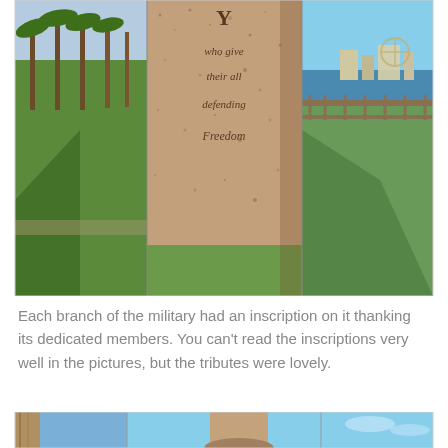[Figure (photo): A composite of three photos showing a granite memorial pillar with inscriptions about military service and freedom, flanked by a park with palm trees on the left and a waterfront view on the right.]
Each branch of the military had an inscription on it thanking its dedicated members. You can't read the inscriptions very well in the pictures, but the tributes were lovely.
[Figure (photo): Three photos at the bottom showing close-up views of military memorial pillars against a blue sky.]